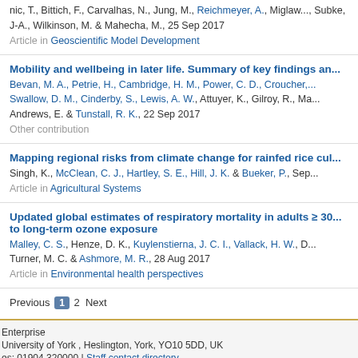nic, T., Bittich, F., Carvalhas, N., Jung, M., Reichmeyer, A., Miglaw..., Subke, J-A., Wilkinson, M. & Mahecha, M., 25 Sep 2017
Article in Geoscientific Model Development
Mobility and wellbeing in later life. Summary of key findings an...
Bevan, M. A., Petrie, H., Cambridge, H. M., Power, C. D., Croucher,..., Swallow, D. M., Cinderby, S., Lewis, A. W., Attuyer, K., Gilroy, R., Ma..., Andrews, E. & Tunstall, R. K., 22 Sep 2017
Other contribution
Mapping regional risks from climate change for rainfed rice cul...
Singh, K., McClean, C. J., Hartley, S. E., Hill, J. K. & Bueker, P., Sep...
Article in Agricultural Systems
Updated global estimates of respiratory mortality in adults ≥ 30... to long-term ozone exposure
Malley, C. S., Henze, D. K., Kuylenstierna, J. C. I., Vallack, H. W., D..., Turner, M. C. & Ashmore, M. R., 28 Aug 2017
Article in Environmental health perspectives
Previous 1 2 Next
Enterprise | University of York, Heslington, York, YO10 5DD, UK | es: 01904 320000 | Staff contact directory | s website: | pure-support@york.ac.uk